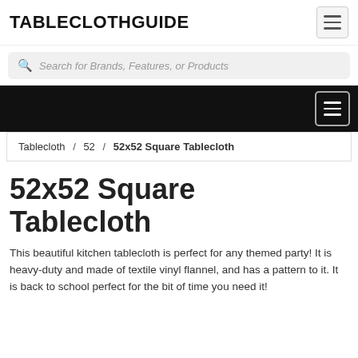TABLECLOTHGUIDE
Search for Brands, Features, or Products
52x52 Square Tablecloth
Tablecloth / 52 / 52x52 Square Tablecloth
52x52 Square Tablecloth
This beautiful kitchen tablecloth is perfect for any themed party! It is heavy-duty and made of textile vinyl flannel, and has a pattern to it. It is back to school perfect for the bit of time you need it!